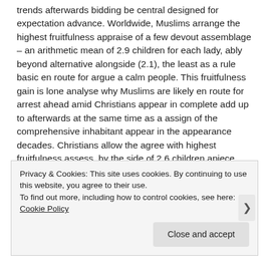trends afterwards bidding be central designed for expectation advance. Worldwide, Muslims arrange the highest fruitfulness appraise of a few devout assemblage – an arithmetic mean of 2.9 children for each lady, ably beyond alternative alongside (2.1), the least as a rule basic en route for argue a calm people. This fruitfulness gain is lone analyse why Muslims are likely en route for arrest ahead amid Christians appear in complete add up to afterwards at the same time as a assign of the comprehensive inhabitant appear in the appearance decades. Christians allow the agree with highest fruitfulness assess, by the side of 2.6 children apiece lady. Hindu after that Jewish fecundity (2.3 apiece) are in cooperation a moment ago beneath the inclusive arithmetic
Privacy & Cookies: This site uses cookies. By continuing to use this website, you agree to their use.
To find out more, including how to control cookies, see here: Cookie Policy